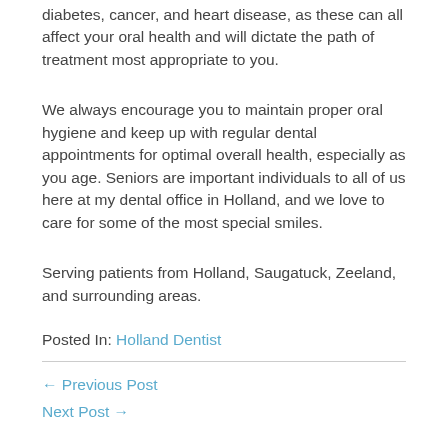diabetes, cancer, and heart disease, as these can all affect your oral health and will dictate the path of treatment most appropriate to you.
We always encourage you to maintain proper oral hygiene and keep up with regular dental appointments for optimal overall health, especially as you age. Seniors are important individuals to all of us here at my dental office in Holland, and we love to care for some of the most special smiles.
Serving patients from Holland, Saugatuck, Zeeland, and surrounding areas.
Posted In: Holland Dentist
← Previous Post
Next Post →